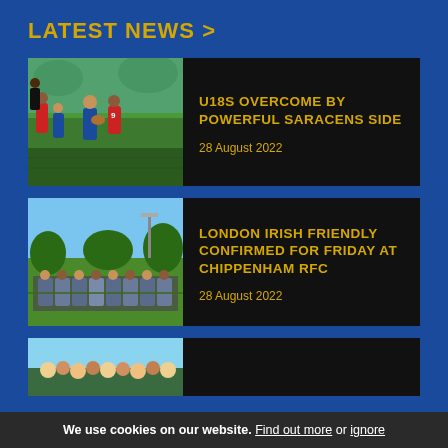LATEST NEWS >
[Figure (photo): Rugby players in action, blue and white vs red kit on a green field]
U18S OVERCOME BY POWERFUL SARACENS SIDE
28 August 2022
[Figure (photo): Rugby team huddle in blue/grey kits on a field with floodlights]
LONDON IRISH FRIENDLY CONFIRMED FOR FRIDAY AT CHIPPENHAM RFC
28 August 2022
[Figure (photo): Partial view of rugby crowd/players at bottom of page]
We use cookies on our website. Find out more or ignore